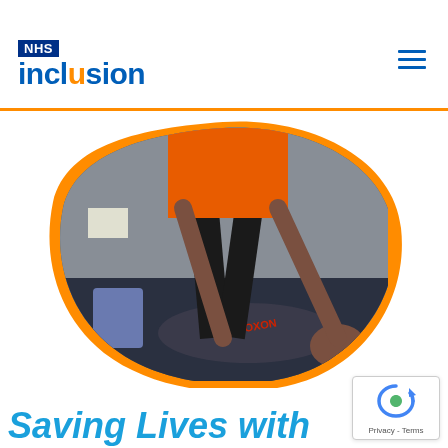[Figure (logo): NHS Inclusion logo with blue NHS badge and blue/orange 'inclusion' text]
[Figure (photo): Person in orange shirt leaning over someone lying on the floor wearing a shirt that reads 'NALOXON', inside a room. Photo is displayed inside an organic blob-shaped frame with an orange border.]
Saving Lives with